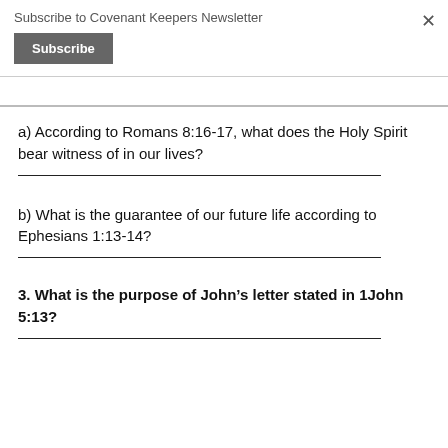Subscribe to Covenant Keepers Newsletter
a) According to Romans 8:16-17, what does the Holy Spirit bear witness of in our lives?
b) What is the guarantee of our future life according to Ephesians 1:13-14?
3. What is the purpose of John’s letter stated in 1John 5:13?